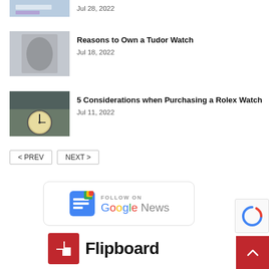[Figure (photo): Thumbnail of desk/office scene - partially visible at top]
Jul 28, 2022
[Figure (photo): Person in dark suit checking wrist watch]
Reasons to Own a Tudor Watch
Jul 18, 2022
[Figure (photo): Large outdoor clock on building facade]
5 Considerations when Purchasing a Rolex Watch
Jul 11, 2022
« PREV   NEXT »
[Figure (logo): Follow on Google News badge with Google News logo]
[Figure (logo): Flipboard logo with red icon and Flipboard wordmark]